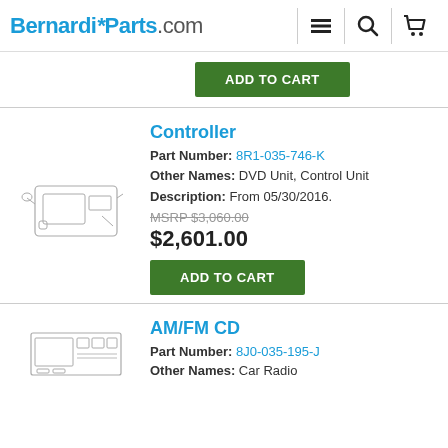BernardiParts.com
ADD TO CART
Controller
Part Number: 8R1-035-746-K
Other Names: DVD Unit, Control Unit
Description: From 05/30/2016.
MSRP $3,060.00
$2,601.00
ADD TO CART
AM/FM CD
Part Number: 8J0-035-195-J
Other Names: Car Radio